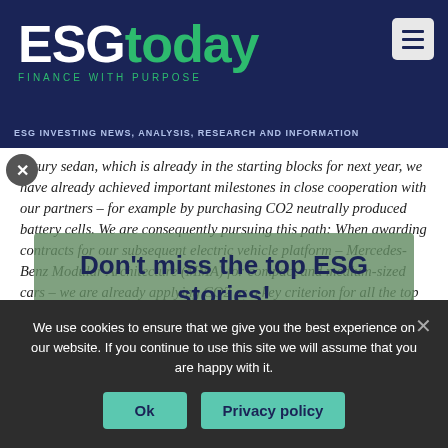ESGtoday — FINANCE WITH PURPOSE
ESG INVESTING NEWS, ANALYSIS, RESEARCH AND INFORMATION
luxury sedan, which is already in the starting blocks for next year, we have already achieved important milestones in close cooperation with our partners – for example by purchasing CO2 neutrally produced battery cells. We are consequently pursuing this path: When awarding contracts for our subsequent electric vehicle platform – Mercedes-Benz Modular Architecture (MMA) for compact and medium-sized cars – we are already applying CO2 as a key criterion for all the top ESG stories, like this one
[Figure (other): ESG popup overlay with text Don't miss the top ESG stories! and subtext about subscribing to all the top ESG stories, like this one]
We use cookies to ensure that we give you the best experience on our website. If you continue to use this site we will assume that you are happy with it.
Ok   Privacy policy